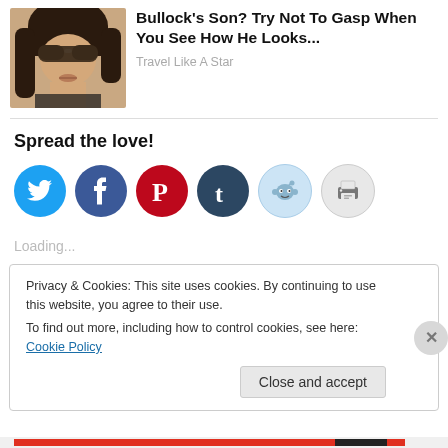[Figure (photo): Photo of a woman with sunglasses and dark hair]
Bullock's Son? Try Not To Gasp When You See How He Looks...
Travel Like A Star
Spread the love!
[Figure (infographic): Social share buttons: Twitter, Facebook, Pinterest, Tumblr, Reddit, Print]
Loading...
Privacy & Cookies: This site uses cookies. By continuing to use this website, you agree to their use.
To find out more, including how to control cookies, see here: Cookie Policy
Close and accept